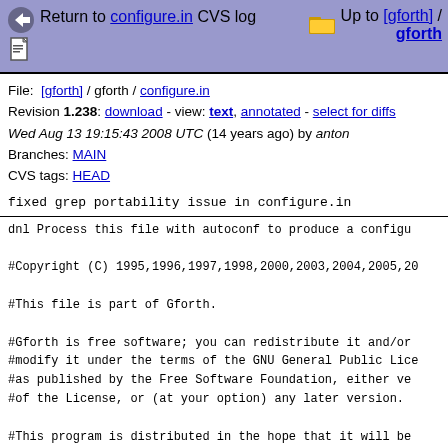Return to configure.in CVS log   Up to [gforth] / gforth
File: [gforth] / gforth / configure.in
Revision 1.238: download - view: text, annotated - select for diffs
Wed Aug 13 19:15:43 2008 UTC (14 years ago) by anton
Branches: MAIN
CVS tags: HEAD
fixed grep portability issue in configure.in
dnl Process this file with autoconf to produce a configu
#Copyright (C) 1995,1996,1997,1998,2000,2003,2004,2005,20
#This file is part of Gforth.

#Gforth is free software; you can redistribute it and/or
#modify it under the terms of the GNU General Public Lice
#as published by the Free Software Foundation, either ve
#of the License, or (at your option) any later version.
#This program is distributed in the hope that it will be
#but WITHOUT ANY WARRANTY; without even the implied warra
#MERCHANTABILITY or FITNESS FOR A PARTICULAR PURPOSE.#See
#GNU General Public License for more details.